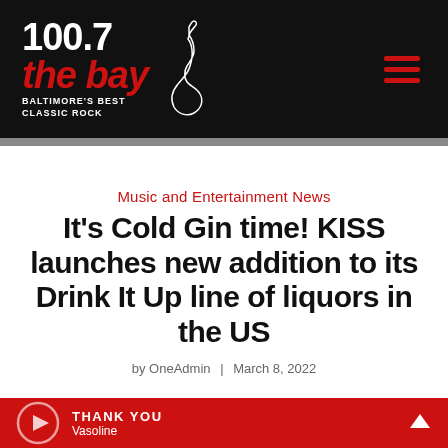100.7 the bay — BALTIMORE'S BEST CLASSIC ROCK
Music and Entertainment News
It's Cold Gin time! KISS launches new addition to its Drink It Up line of liquors in the US
by OneAdmin | March 8, 2022
THANK YOU Vasoline